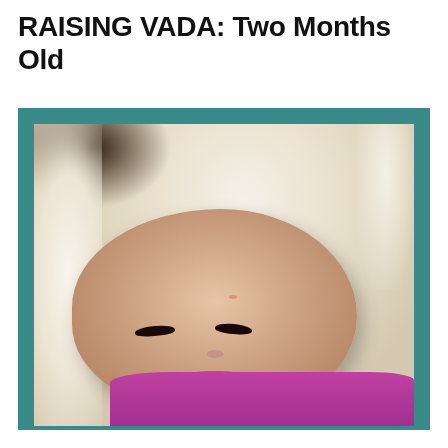RAISING VADA: Two Months Old
[Figure (photo): Close-up photo of a newborn baby approximately two months old, lying on a fluffy white sheepskin blanket. The baby has a round head with fine hair, partially closed eyes, a small nose, and puckered lips. The baby is wearing a bright pink/magenta outfit. The background shows the white fluffy blanket and a dark upper-left corner.]